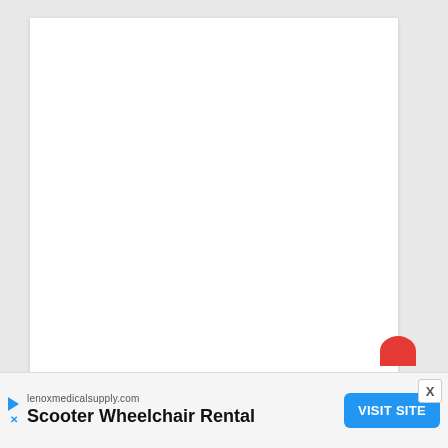[Figure (other): Large white blank document page area on a light grey background, representing an empty web page or document viewer.]
lenoxmedicalsupply.com
Scooter Wheelchair Rental
VISIT SITE
X